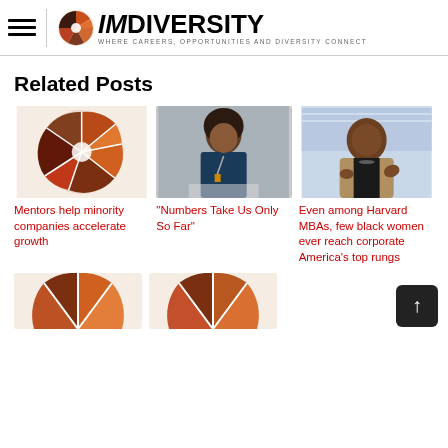IMdiversity — WHERE CAREERS, OPPORTUNITIES AND DIVERSITY CONNECT
Related Posts
[Figure (logo): IMdiversity pie-chart logo image]
Mentors help minority companies accelerate growth
[Figure (photo): Woman with natural hair sitting at table, wearing blue top with lanyard]
"Numbers Take Us Only So Far"
[Figure (photo): Black woman gesturing while speaking, wearing beige blazer]
Even among Harvard MBAs, few black women ever reach corporate America’s top rungs
[Figure (logo): IMdiversity logo partial]
[Figure (logo): IMdiversity logo partial]